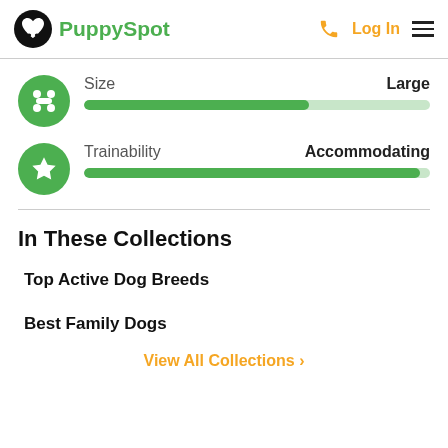PuppySpot | Log In
Size — Large
Trainability — Accommodating
In These Collections
Top Active Dog Breeds
Best Family Dogs
View All Collections >